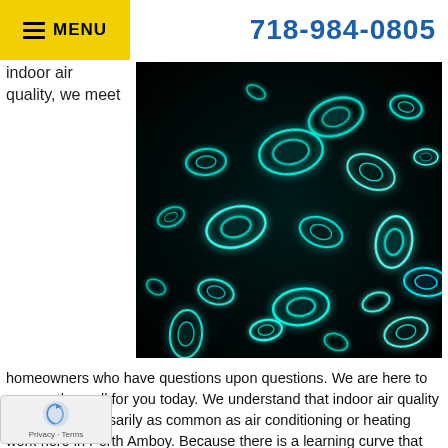Menu | 718-984-0805
indoor air quality, we meet
[Figure (photo): Microscopic image of cyan/teal glowing oval microorganisms or particles on a dark black background]
homeowners who have questions upon questions. We are here to answer them all for you today. We understand that indoor air quality work isn't necessarily as common as air conditioning or heating work here in Perth Amboy. Because there is a learning curve that you have to get past to understand what's going on. We're here to inform you.